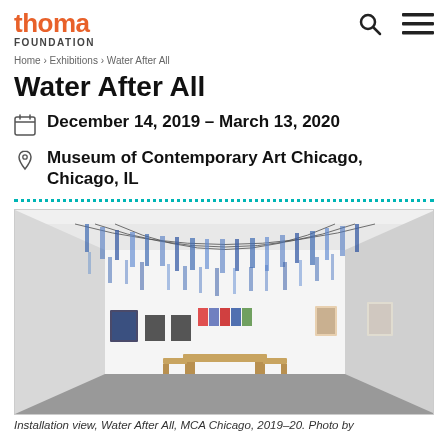thoma FOUNDATION
Water After All
December 14, 2019 – March 13, 2020
Museum of Contemporary Art Chicago, Chicago, IL
[Figure (photo): Installation view of Water After All at MCA Chicago, 2019–20, showing blue-and-white hanging textile/paper installation suspended from ceiling, with artworks on walls and a wooden bench in the center of a white gallery room.]
Installation view, Water After All, MCA Chicago, 2019–20. Photo by